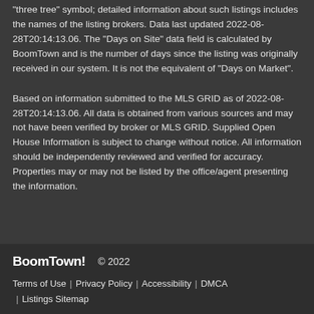"three tree" symbol; detailed information about such listings includes the names of the listing brokers. Data last updated 2022-08-28T20:14:13.06. The "Days on Site" data field is calculated by BoomTown and is the number of days since the listing was originally received in our system. It is not the equivalent of "Days on Market".
Based on information submitted to the MLS GRID as of 2022-08-28T20:14:13.06. All data is obtained from various sources and may not have been verified by broker or MLS GRID. Supplied Open House Information is subject to change without notice. All information should be independently reviewed and verified for accuracy. Properties may or may not be listed by the office/agent presenting the information.
BoomTown! © 2022 | Terms of Use | Privacy Policy | Accessibility | DMCA | Listings Sitemap